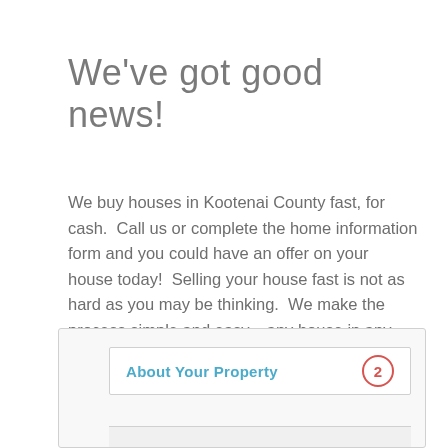We've got good news!
We buy houses in Kootenai County fast, for cash. Call us or complete the home information form and you could have an offer on your house today! Selling your house fast is not as hard as you may be thinking. We make the process simple and easy... any house in any condition! A local House Buyer Source professional is standing by and eager to make you a Fast and fair cash offer for your property.
About Your Property